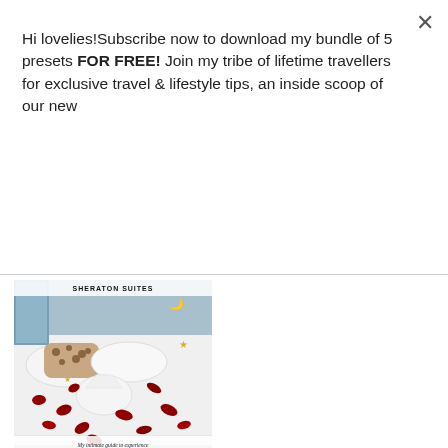Hi lovelies!Subscribe now to download my bundle of 5 presets FOR FREE! Join my tribe of lifetime travellers for exclusive travel & lifestyle tips, an inside scoop of our new
Subscribe
[Figure (photo): Hotel bed covered with red rose petals and white towel origami. Text overlay reads 'SHERATON SUITES' at top, and below: 'My intimate guide to experience this fully loaded, high class hotel!' with website LAURENSLIGHTHOUSE.COM]